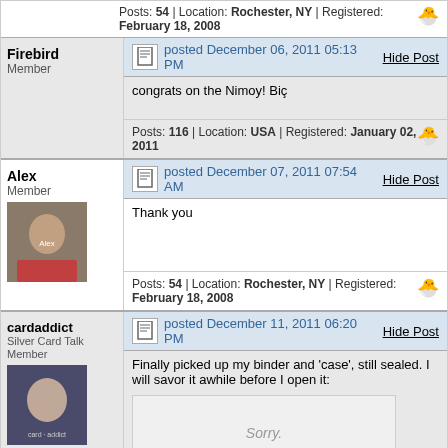Posts: 54 | Location: Rochester, NY | Registered: February 18, 2008
Firebird
Member
posted December 06, 2011 05:13 PM
Hide Post
congrats on the Nimoy! Big
Posts: 116 | Location: USA | Registered: January 02, 2011
Alex
Member
posted December 07, 2011 07:54 AM
Hide Post
Thank you
Posts: 54 | Location: Rochester, NY | Registered: February 18, 2008
cardaddict
Silver Card Talk Member
posted December 11, 2011 06:20 PM
Hide Post
Finally picked up my binder and 'case', still sealed. I will savor it awhile before I open it:
[Figure (other): Sorry. This Image Is currently Unavailable placeholder box]